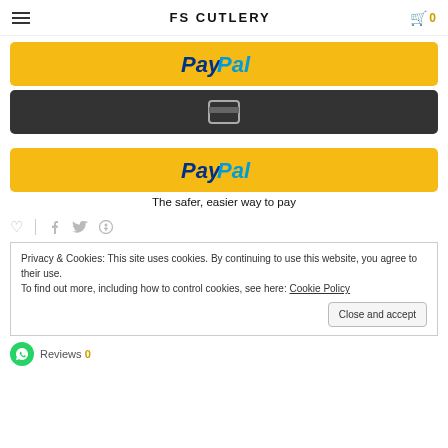FS CUTLERY
[Figure (other): PayPal payment button (yellow background)]
[Figure (other): Credit card payment button (dark background with card icon)]
[Figure (other): PayPal payment button (yellow background) with tagline: The safer, easier way to pay]
The safer, easier way to pay
[Figure (other): Social icons row: heart, facebook, twitter, pinterest]
Privacy & Cookies: This site uses cookies. By continuing to use this website, you agree to their use. To find out more, including how to control cookies, see here: Cookie Policy
Reviews 0